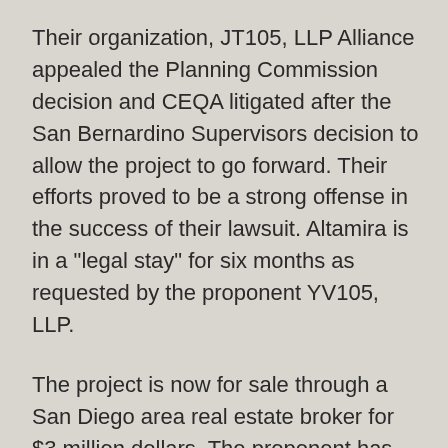Their organization, JT105, LLP Alliance appealed the Planning Commission decision and CEQA litigated after the San Bernardino Supervisors decision to allow the project to go forward. Their efforts proved to be a strong offense in the success of their lawsuit. Altamira is in a "legal stay" for six months as requested by the proponent YV105, LLP.
The project is now for sale through a San Diego area real estate broker for $3 million dollars. The proponent has stated that they've invested $4.5 million dollars on the proposed project.